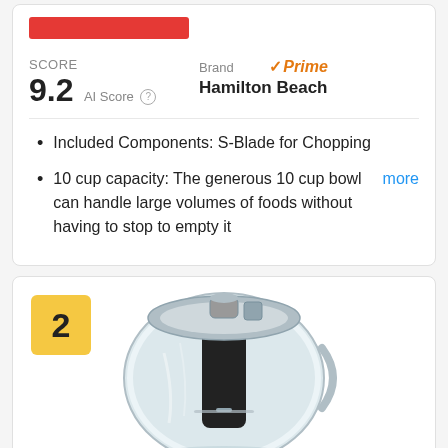[Figure (other): Red bar/button graphic at top of first card]
SCORE
9.2 AI Score
Brand
Hamilton Beach
Prime
Included Components: S-Blade for Chopping
10 cup capacity: The generous 10 cup bowl can handle large volumes of foods without having to stop to empty it more
[Figure (photo): Photo of a food processor with clear bowl and dark base, ranking badge '2' in top left corner]